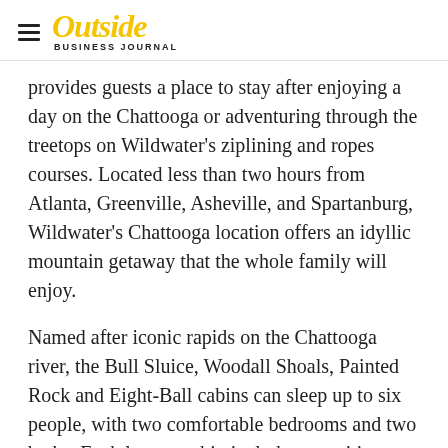Outside Business Journal
provides guests a place to stay after enjoying a day on the Chattooga or adventuring through the treetops on Wildwater's ziplining and ropes courses. Located less than two hours from Atlanta, Greenville, Asheville, and Spartanburg, Wildwater's Chattooga location offers an idyllic mountain getaway that the whole family will enjoy.
Named after iconic rapids on the Chattooga river, the Bull Sluice, Woodall Shoals, Painted Rock and Eight-Ball cabins can sleep up to six people, with two comfortable bedrooms and two baths. Each luxury cabin includes amenities such as a furnished kitchen, flat-screen TV and beautiful outdoor seating where guests can relax in nature. The Goldfinch treehouse is a cozy one-bedroom, one-bath space that includes a kitchenette and a private outdoor deck for guests to enjoy after a day packed with adventure.